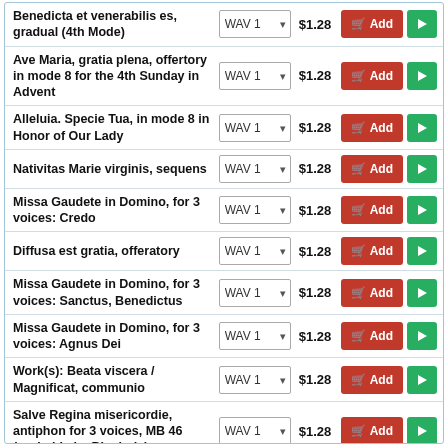Benedicta et venerabilis es, gradual (4th Mode) — WAV 1 — $1.28 — Add
Ave Maria, gratia plena, offertory in mode 8 for the 4th Sunday in Advent — WAV 1 — $1.28 — Add
Alleluia. Specie Tua, in mode 8 in Honor of Our Lady — WAV 1 — $1.28 — Add
Nativitas Marie virginis, sequens — WAV 1 — $1.28 — Add
Missa Gaudete in Domino, for 3 voices: Credo — WAV 1 — $1.28 — Add
Diffusa est gratia, offeratory — WAV 1 — $1.28 — Add
Missa Gaudete in Domino, for 3 voices: Sanctus, Benedictus — WAV 1 — $1.28 — Add
Missa Gaudete in Domino, for 3 voices: Agnus Dei — WAV 1 — $1.28 — Add
Work(s): Beata viscera / Magnificat, communio — WAV 1 — $1.28 — Add
Salve Regina misericordie, antiphon for 3 voices, MB 46 (probably by Binchois) — WAV 1 — $1.28 — Add